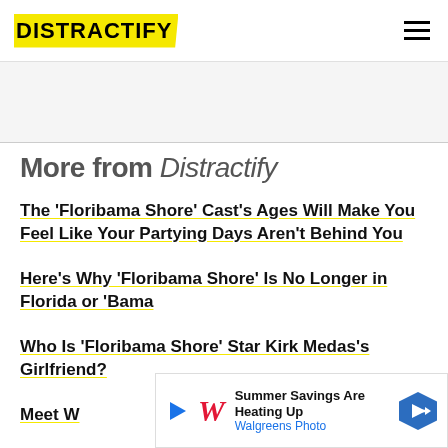DISTRACTIFY
More from Distractify
The 'Floribama Shore' Cast's Ages Will Make You Feel Like Your Partying Days Aren't Behind You
Here's Why 'Floribama Shore' Is No Longer in Florida or 'Bama
Who Is 'Floribama Shore' Star Kirk Medas's Girlfriend? Meet V...
[Figure (screenshot): Walgreens Photo advertisement banner: 'Summer Savings Are Heating Up / Walgreens Photo' with play button, W logo, and blue arrow icon]